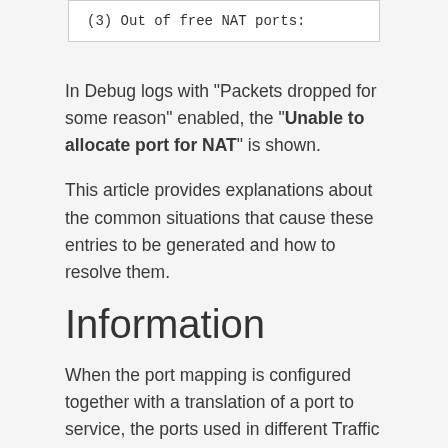[Figure (screenshot): Code box showing: (3) Out of free NAT ports:]
In Debug logs with "Packets dropped for some reason" enabled, the "Unable to allocate port for NAT" is shown.
This article provides explanations about the common situations that cause these entries to be generated and how to resolve them.
Information
When the port mapping is configured together with a translation of a port to service, the ports used in different Traffic Rules